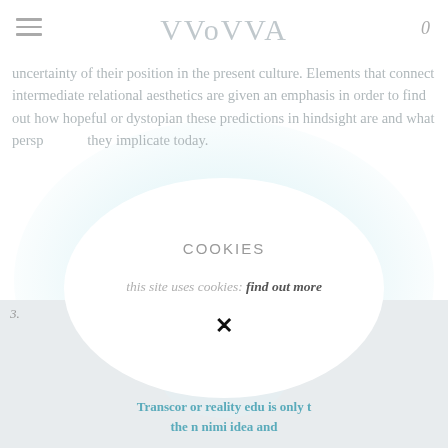WOVVA  0
uncertainty of their position in the present culture. Elements that connect intermediate relational aesthetics are given an emphasis in order to find out how hopeful or dystopian these predictions in hindsight are and what perspectives they implicate today.
COOKIES
this site uses cookies: find out more
×
[Figure (screenshot): Partial view of a website page showing an artistic image with text overlay reading 'Transcor or reality edu is only the n nimi idea and']